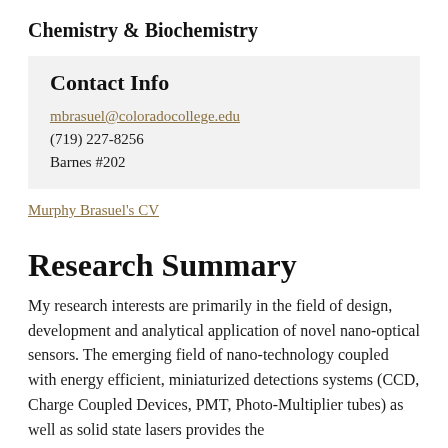Chemistry & Biochemistry
Contact Info
mbrasuel@coloradocollege.edu
(719) 227-8256
Barnes #202
Murphy Brasuel's CV
Research Summary
My research interests are primarily in the field of design, development and analytical application of novel nano-optical sensors. The emerging field of nano-technology coupled with energy efficient, miniaturized detections systems (CCD, Charge Coupled Devices, PMT, Photo-Multiplier tubes) as well as solid state lasers provides the